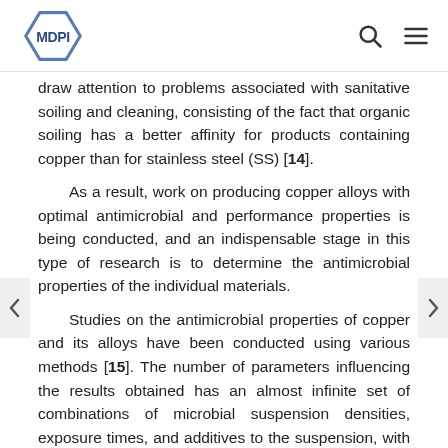MDPI
draw attention to problems associated with sanitative soiling and cleaning, consisting of the fact that organic soiling has a better affinity for products containing copper than for stainless steel (SS) [14].
As a result, work on producing copper alloys with optimal antimicrobial and performance properties is being conducted, and an indispensable stage in this type of research is to determine the antimicrobial properties of the individual materials.
Studies on the antimicrobial properties of copper and its alloys have been conducted using various methods [15]. The number of parameters influencing the results obtained has an almost infinite set of combinations of microbial suspension densities, exposure times, and additives to the suspension, with the aim of simulating different types of exposure (e.g., organic contamination) on microbes in the environment. In the experiments performed to date, two groups of methods were used: dry and wet exposure; numerous variations of these methods have been employed by researchers. For example,